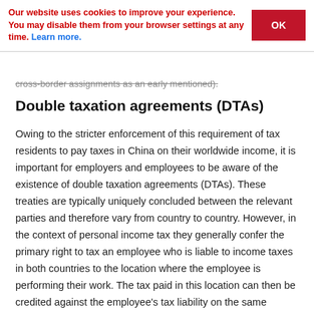Our website uses cookies to improve your experience. You may disable them from your browser settings at any time. Learn more.
cross-border assignments as an early mentioned).
Double taxation agreements (DTAs)
Owing to the stricter enforcement of this requirement of tax residents to pay taxes in China on their worldwide income, it is important for employers and employees to be aware of the existence of double taxation agreements (DTAs). These treaties are typically uniquely concluded between the relevant parties and therefore vary from country to country. However, in the context of personal income tax they generally confer the primary right to tax an employee who is liable to income taxes in both countries to the location where the employee is performing their work. The tax paid in this location can then be credited against the employee's tax liability on the same income in their home location. There is such an